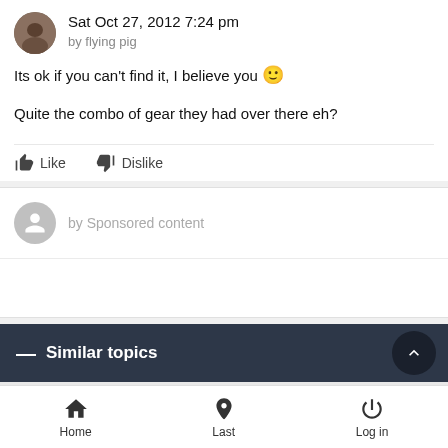Sat Oct 27, 2012 7:24 pm by flying pig
Its ok if you can't find it, I believe you 🙂

Quite the combo of gear they had over there eh?
Like   Dislike
by Sponsored content
— Similar topics
Home   Last   Log in